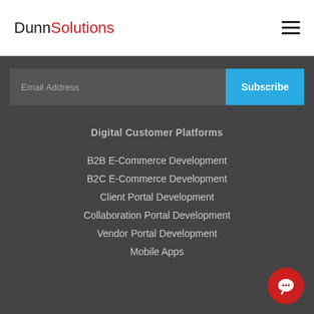DunnSolutions
Email Address
Subscribe
Digital Customer Platforms
B2B E-Commerce Development
B2C E-Commerce Development
Client Portal Development
Collaboration Portal Development
Vendor Portal Development
Mobile Apps